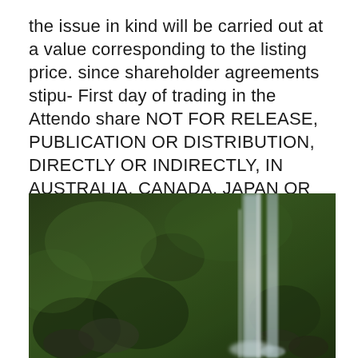the issue in kind will be carried out at a value corresponding to the listing price. since shareholder agreements stipu- First day of trading in the Attendo share NOT FOR RELEASE, PUBLICATION OR DISTRIBUTION, DIRECTLY OR INDIRECTLY, IN AUSTRALIA, CANADA, JAPAN OR THE UNITED STATES.
[Figure (photo): Photograph of a waterfall cascading down a moss-covered rocky cliff with dense green vegetation. The water appears as white streaks against the dark green mossy rocks.]